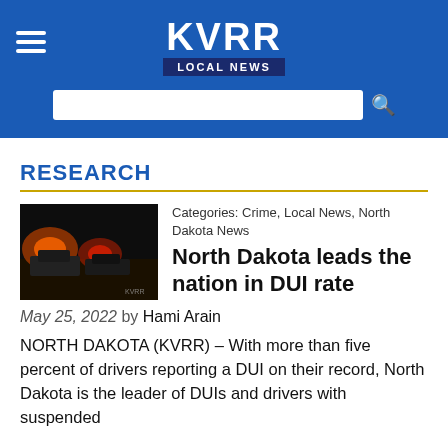KVRR LOCAL NEWS
RESEARCH
[Figure (photo): Police cars at night with red and orange flashing lights on a street]
Categories: Crime, Local News, North Dakota News
North Dakota leads the nation in DUI rate
May 25, 2022 by Hami Arain
NORTH DAKOTA (KVRR) – With more than five percent of drivers reporting a DUI on their record, North Dakota is the leader of DUIs and drivers with suspended